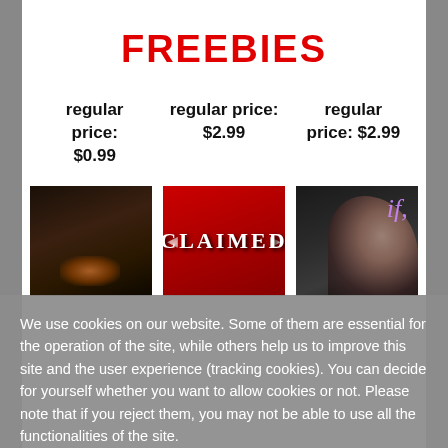FREEBIES
regular price: $0.99
regular price: $2.99
regular price: $2.99
[Figure (photo): Three book covers side by side: a dark moody cover, a red 'CLAIMED' cover, and a dark close-up face cover with 'if,' text]
We use cookies on our website. Some of them are essential for the operation of the site, while others help us to improve this site and the user experience (tracking cookies). You can decide for yourself whether you want to allow cookies or not. Please note that if you reject them, you may not be able to use all the functionalities of the site.